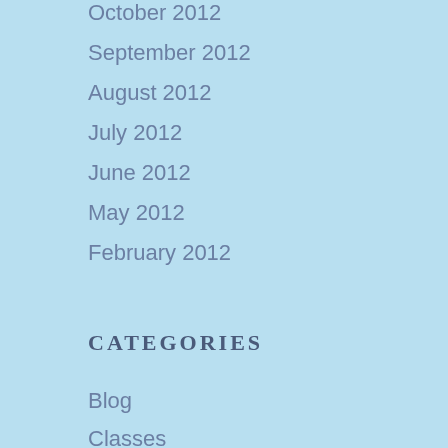October 2012
September 2012
August 2012
July 2012
June 2012
May 2012
February 2012
CATEGORIES
Blog
Classes
Events
News
Newsletter
Uncategorized